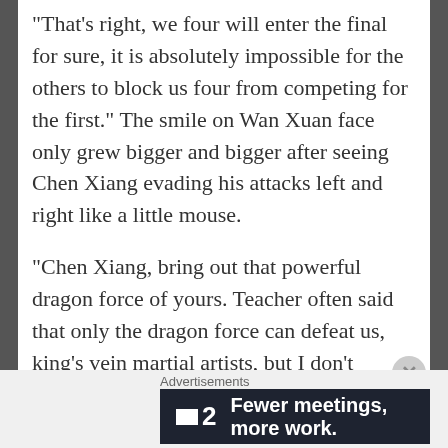“That’s right, we four will enter the final for sure, it is absolutely impossible for the others to block us four from competing for the first.” The smile on Wan Xuan face only grew bigger and bigger after seeing Chen Xiang evading his attacks left and right like a little mouse.
“Chen Xiang, bring out that powerful dragon force of yours. Teacher often said that only the dragon force can defeat us, king’s vein martial artists, but I don’t believe that!” Wan Xuan knit his brows. The sword aura spread forth in all direction as he gripped his sword before swinging it down towards the nearby Chen Xiang. Following
Advertisements
[Figure (other): Advertisement banner with dark navy background showing the Twist 2 logo (white square icon and number 2) with bold white text: 'Fewer meetings, more work.']